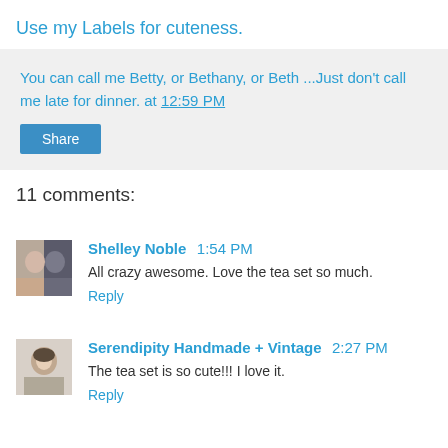Use my Labels for cuteness.
You can call me Betty, or Bethany, or Beth ...Just don't call me late for dinner. at 12:59 PM
Share
11 comments:
Shelley Noble  1:54 PM
All crazy awesome. Love the tea set so much.
Reply
Serendipity Handmade + Vintage  2:27 PM
The tea set is so cute!!! I love it.
Reply